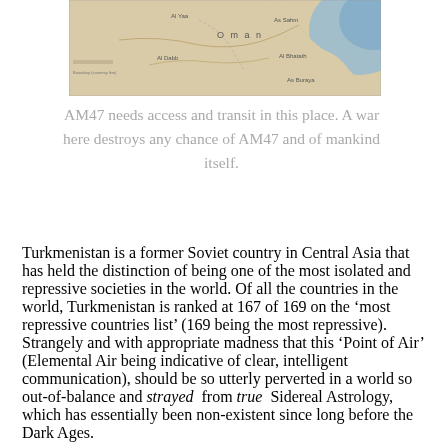[Figure (map): A partial map showing the Oman region with labeled locations including Al Yaa, Oman text, Al Dabb, and other place names. A blue gradient area is visible on the right side indicating water or a geographic feature.]
AM47 needs access and transit in this place. A war here destroys any chance of AM47 and of mankind itself.
Turkmenistan is a former Soviet country in Central Asia that has held the distinction of being one of the most isolated and repressive societies in the world. Of all the countries in the world, Turkmenistan is ranked at 167 of 169 on the ‘most repressive countries list’ (169 being the most repressive). Strangely and with appropriate madness that this ‘Point of Air’ (Elemental Air being indicative of clear, intelligent communication), should be so utterly perverted in a world so out-of-balance and strayed from true Sidereal Astrology, which has essentially been non-existent since long before the Dark Ages.